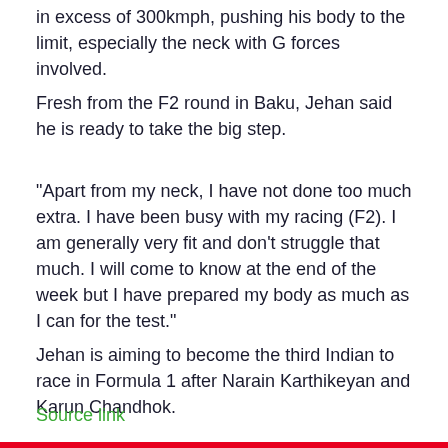in excess of 300kmph, pushing his body to the limit, especially the neck with G forces involved.
Fresh from the F2 round in Baku, Jehan said he is ready to take the big step.
“Apart from my neck, I have not done too much extra. I have been busy with my racing (F2). I am generally very fit and don’t struggle that much. I will come to know at the end of the week but I have prepared my body as much as I can for the test.”
Jehan is aiming to become the third Indian to race in Formula 1 after Narain Karthikeyan and Karun Chandhok.
Source link